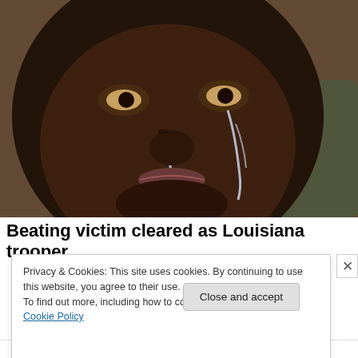[Figure (photo): Close-up photograph of a Black man crying, with tears streaming down his face. He is wearing a light green shirt. The background is blurred and warm-toned.]
Beating victim cleared as Louisiana trooper
Privacy & Cookies: This site uses cookies. By continuing to use this website, you agree to their use.
To find out more, including how to control cookies, see here: Cookie Policy
Close and accept